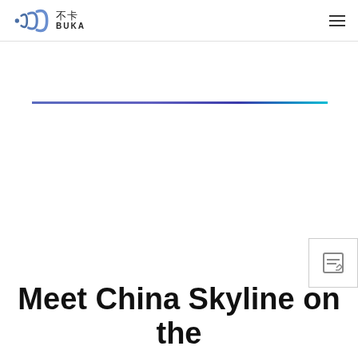不卡 BUKA
[Figure (other): Horizontal gradient line from blue-purple on left to cyan on right]
[Figure (other): Feedback/edit button icon in bottom-right area]
Meet China Skyline on the